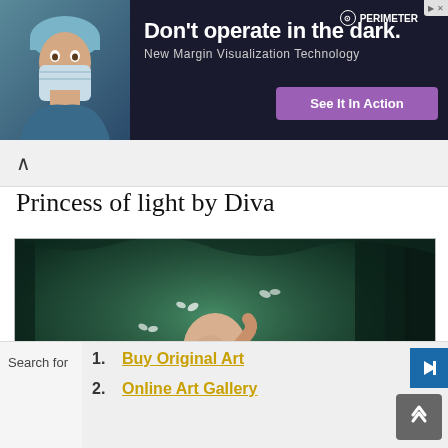[Figure (screenshot): Advertisement banner with a doctor in surgical mask on left, bold white text 'Don't operate in the dark.' with subtitle 'New Margin Visualization Technology', a purple 'See It In Action' CTA button, and Perimeter logo on dark background.]
Princess of light by Diva
[Figure (photo): Painting of a bald figure lying on a forest floor surrounded by white butterflies, set against a dark green forest background. The figure wears a light top and patterned shorts.]
Judith Vergara – Paintings and Drawings
Search for
1. Buy Original Art
2. Online Art Gallery